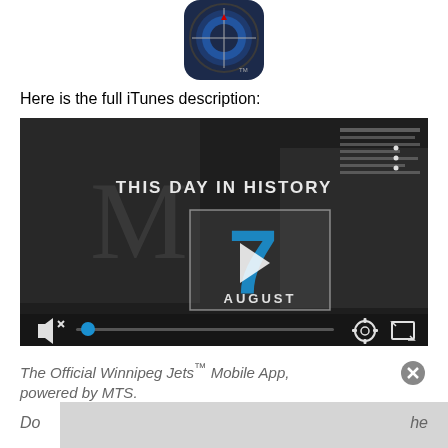[Figure (logo): Winnipeg Jets app icon — circular target/logo design in blue and grey on dark background, rounded square shape with TM mark]
Here is the full iTunes description:
[Figure (screenshot): Video thumbnail screenshot showing 'THIS DAY IN HISTORY' text overlay on dark background with elderly people smiling. Center shows a play button inside a rectangle with a large blue number '7' and 'AUGUST' text below. Bottom bar shows mute icon, blue progress dot, settings gear icon, and fullscreen icon. Three dots in top right.]
The Official Winnipeg Jets™ Mobile App, powered by MTS.
Do